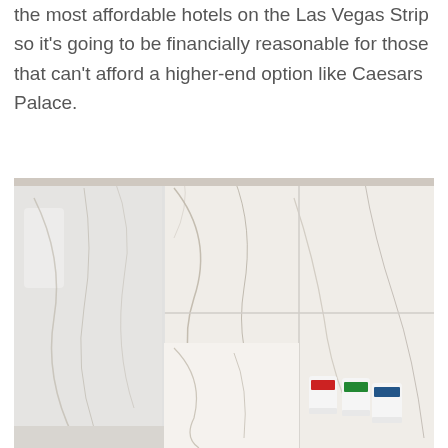the most affordable hotels on the Las Vegas Strip so it's going to be financially reasonable for those that can't afford a higher-end option like Caesars Palace.
[Figure (photo): Hotel bathroom with white marble-patterned tile walls, a glass shower partition, and three small wall-mounted dispenser bottles (red, green, blue labels) attached to the wall.]